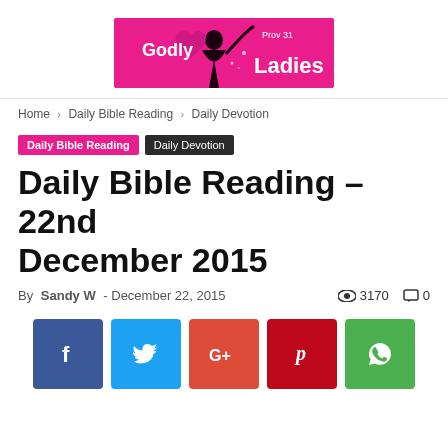[Figure (logo): Godly Ladies Prov 31 logo banner with pink/hot-pink background, silhouette of woman, text 'Godly Ladies' and 'Prov 31']
Home › Daily Bible Reading › Daily Devotion
Daily Bible Reading  Daily Devotion
Daily Bible Reading – 22nd December 2015
By Sandy W - December 22, 2015    3170   0
[Figure (infographic): Social sharing buttons: Facebook (blue), Twitter (light blue), Google+ (red-orange), Pinterest (red), WhatsApp (green)]